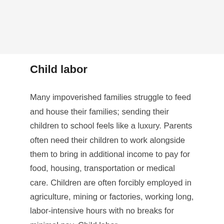Child labor
Many impoverished families struggle to feed and house their families; sending their children to school feels like a luxury. Parents often need their children to work alongside them to bring in additional income to pay for food, housing, transportation or medical care. Children are often forcibly employed in agriculture, mining or factories, working long, labor-intensive hours with no breaks for minimal pay. Child labor